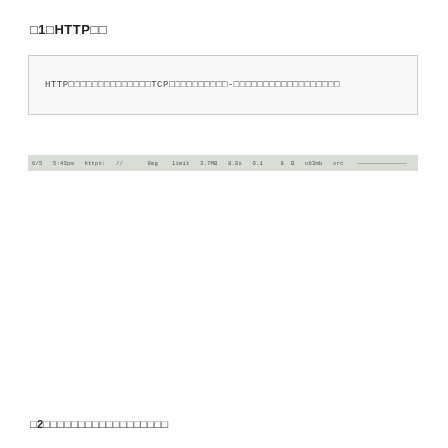図1　HTTPの概要
HTTPはアプリケーション層のプロトコルでTCPを使用します。 - 以下にHTTPの基本的な仕様を示します。
[Figure (screenshot): A terminal/command line screenshot showing an HTTP request/response exchange]
図2　HTTPリクエストとレスポンスのやり取り